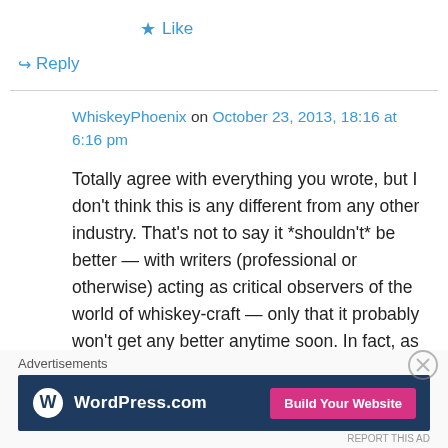★ Like
↪ Reply
WhiskeyPhoenix on October 23, 2013, 18:16 at 6:16 pm
Totally agree with everything you wrote, but I don't think this is any different from any other industry. That's not to say it *shouldn't* be better — with writers (professional or otherwise) acting as critical observers of the world of whiskey-craft — only that it probably won't get any better anytime soon. In fact, as American whiskey
Advertisements
[Figure (screenshot): WordPress.com advertisement banner with blue background, WordPress logo on left, and pink 'Build Your Website' button on right]